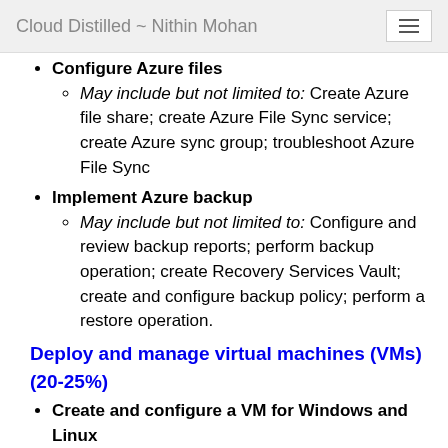Cloud Distilled ~ Nithin Mohan
Configure Azure files
May include but not limited to: Create Azure file share; create Azure File Sync service; create Azure sync group; troubleshoot Azure File Sync
Implement Azure backup
May include but not limited to: Configure and review backup reports; perform backup operation; create Recovery Services Vault; create and configure backup policy; perform a restore operation.
Deploy and manage virtual machines (VMs) (20-25%)
Create and configure a VM for Windows and Linux
May include but not limited to: